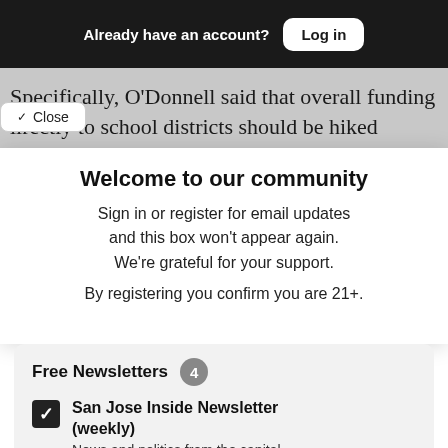Already have an account? Log in
Specifically, O’Donnell said that overall funding directly to school districts should be hiked
∨ Close
Welcome to our community
Sign in or register for email updates and this box won’t appear again. We’re grateful for your support.
By registering you confirm you are 21+.
Free Newsletters 4
San Jose Inside Newsletter (weekly)
News and politics from the capital